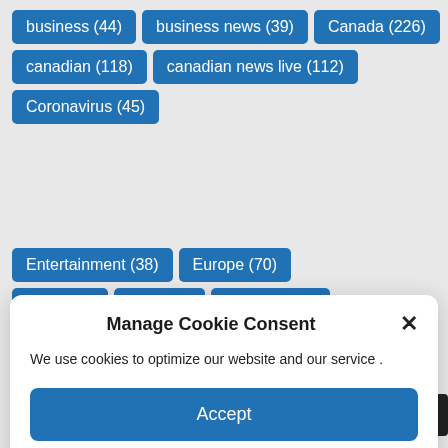business (44)
business news (39)
Canada (226)
canadian (118)
canadian news live (112)
Coronavirus (45)
Manage Cookie Consent
We use cookies to optimize our website and our service .
Accept
Cookie Policy
Entertainment (38)
Europe (70)
GEN (31)
gold (38)
hundred (41)
InHouseArticle_thestar (56)
investing (33)
live video (89)
local news (116)
name (38)